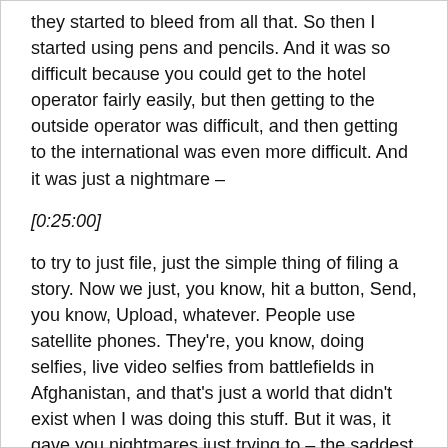they started to bleed from all that. So then I started using pens and pencils. And it was so difficult because you could get to the hotel operator fairly easily, but then getting to the outside operator was difficult, and then getting to the international was even more difficult. And it was just a nightmare –
[0:25:00]
to try to just file, just the simple thing of filing a story. Now we just, you know, hit a button, Send, you know, Upload, whatever. People use satellite phones. They're, you know, doing selfies, live video selfies from battlefields in Afghanistan, and that's just a world that didn't exist when I was doing this stuff. But it was, it gave you nightmares just trying to – the saddest story, I think, was in 1989. The Daily News sent me to Puerto Rico in advance of the island being struck by Hurricane Hugo. And a lot of reporters went down in advance, and the storm hit and it was quite a storm. And